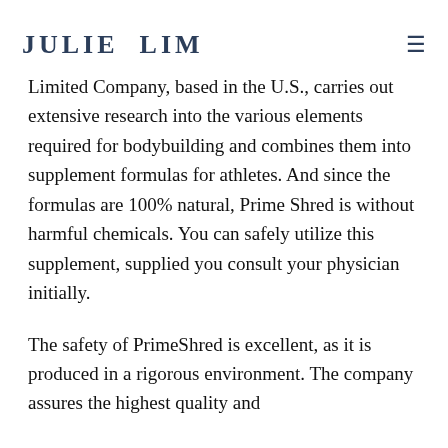JULIE LIM
Limited Company, based in the U.S., carries out extensive research into the various elements required for bodybuilding and combines them into supplement formulas for athletes. And since the formulas are 100% natural, Prime Shred is without harmful chemicals. You can safely utilize this supplement, supplied you consult your physician initially.
The safety of PrimeShred is excellent, as it is produced in a rigorous environment. The company assures the highest quality and